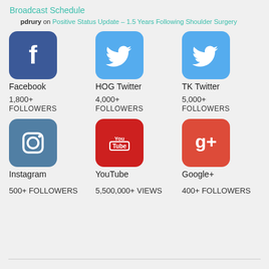Broadcast Schedule
pdrury on Positive Status Update – 1.5 Years Following Shoulder Surgery
[Figure (infographic): Six social media icons arranged in two rows of three: Facebook (1,800+ Followers), HOG Twitter (4,000+ Followers), TK Twitter (5,000+ Followers), Instagram (500+ Followers), YouTube (5,500,000+ Views), Google+ (400+ Followers)]